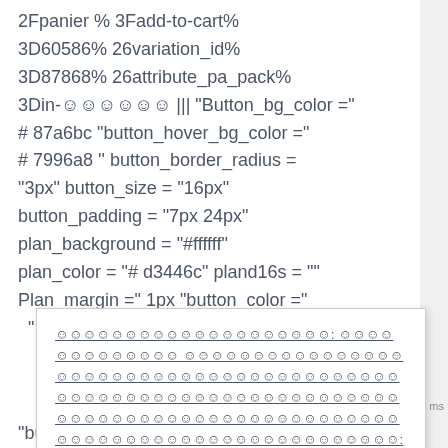2Fpanier % 3Fadd-to-cart% 3D60586% 26variation_id% 3D87868% 26attribute_pa_pack% 3Din-☺☺☺☺☺☺ ||| "Button_bg_color =" # 87a6bc "button_hover_bg_color =" # 7996a8 '' button_border_radius = "3px" button_size = "16px" button_padding = "7px 24px" plan_background = "#ffffff" plan_color = "# d3446c" pland16s = "" Plan_margin =" 1px "button_color ="
☺☺☺☺☺☺☺☺☺☺☺☺☺☺☺☺☺☺☺☺: ☺☺☺☺☺☺☺☺☺☺☺☺☺ ☺☺☺☺☺☺☺☺☺☺☺☺☺☺☺☺☺☺☺☺☺☺☺☺☺☺☺☺☺☺☺☺☺☺☺☺☺☺☺☺☺☺☺☺☺☺☺☺☺☺☺☺☺☺☺☺☺☺☺☺☺☺☺☺☺☺☺: ☺☺☺☺☺☺☺☺☺☺☺☺
☺☺☺☺☺☺☺☺☺☺☺☺☺☺☺☺☺☺☺☺☺☺☺☺☺☺☺☺☺☺☺☺☺☺☺☺☺☺☺☺☺☺
"button_wrap_b =" #faftbfc "|